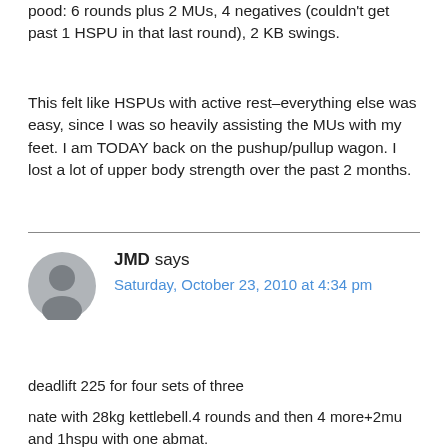pood: 6 rounds plus 2 MUs, 4 negatives (couldn't get past 1 HSPU in that last round), 2 KB swings.
This felt like HSPUs with active rest–everything else was easy, since I was so heavily assisting the MUs with my feet. I am TODAY back on the pushup/pullup wagon. I lost a lot of upper body strength over the past 2 months.
JMD says
Saturday, October 23, 2010 at 4:34 pm
deadlift 225 for four sets of three
nate with 28kg kettlebell.4 rounds and then 4 more+2mu and 1hspu with one abmat.